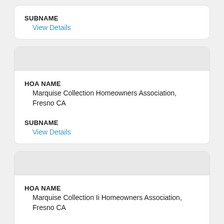SUBNAME
View Details
HOA NAME
Marquise Collection Homeowners Association, Fresno CA
SUBNAME
View Details
HOA NAME
Marquise Collection Ii Homeowners Association, Fresno CA
SUBNAME
View Details